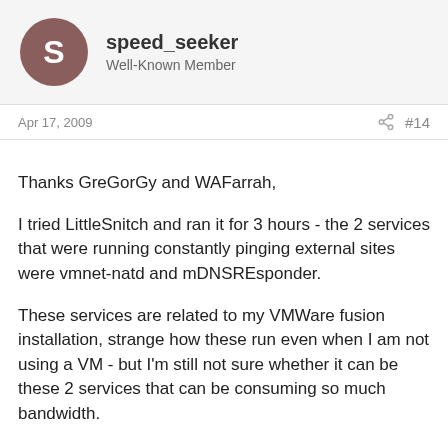speed_seeker
Well-Known Member
Apr 17, 2009
#14
Thanks GreGorGy and WAFarrah,

I tried LittleSnitch and ran it for 3 hours - the 2 services that were running constantly pinging external sites were vmnet-natd and mDNSREsponder.

These services are related to my VMWare fusion installation, strange how these run even when I am not using a VM - but I'm still not sure whether it can be these 2 services that can be consuming so much bandwidth.

I have also installed SurplusMeter which shows me very nicely how much bandwidth is being consumed, but unfortunately still does not tell me what is consuming it.

Between 23:59 last night and 07:00 this morning 400MB was